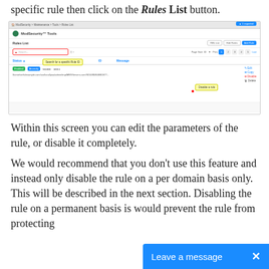specific rule then click on the Rules List button.
[Figure (screenshot): Screenshot of ModSecurity Tools Rules List interface showing a search bar, pagination, table columns (Status, Logging, Source, ID, Message), one rule entry with green and blue badges, action buttons (Edit, Copy, Disable, Delete), a tooltip 'Search for a specific Rule ID', and a 'Disable a rule' button.]
Within this screen you can edit the parameters of the rule, or disable it completely.
We would recommend that you don't use this feature and instead only disable the rule on a per domain basis only. This will be described in the next section. Disabling the rule on a permanent basis is would prevent the rule from protecting
Leave a message  ×